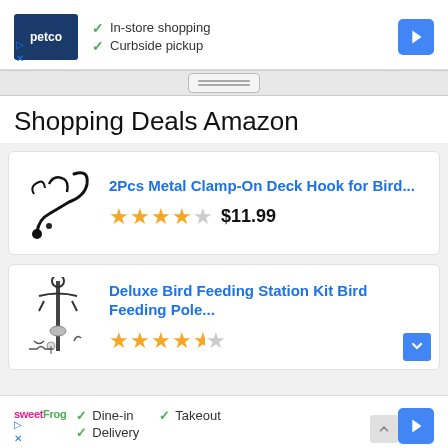[Figure (screenshot): Petco ad banner with In-store shopping and Curbside pickup checkmarks, navigation arrow]
Shopping Deals Amazon
[Figure (photo): 2Pcs Metal Clamp-On Deck Hook for Bird... product card with 4-star rating and $11.99 price]
[Figure (photo): Deluxe Bird Feeding Station Kit Bird Feeding Pole... product card with 4.5-star rating]
[Figure (screenshot): SweetFrog ad banner with Dine-in, Takeout, Delivery checkmarks]